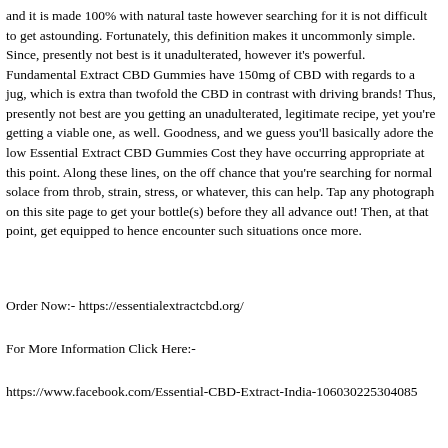and it is made 100% with natural taste however searching for it is not difficult to get astounding. Fortunately, this definition makes it uncommonly simple. Since, presently not best is it unadulterated, however it's powerful. Fundamental Extract CBD Gummies have 150mg of CBD with regards to a jug, which is extra than twofold the CBD in contrast with driving brands! Thus, presently not best are you getting an unadulterated, legitimate recipe, yet you're getting a viable one, as well. Goodness, and we guess you'll basically adore the low Essential Extract CBD Gummies Cost they have occurring appropriate at this point. Along these lines, on the off chance that you're searching for normal solace from throb, strain, stress, or whatever, this can help. Tap any photograph on this site page to get your bottle(s) before they all advance out! Then, at that point, get equipped to hence encounter such situations once more.
Order Now:- https://essentialextractcbd.org/
For More Information Click Here:-
https://www.facebook.com/Essential-CBD-Extract-India-106030225304085